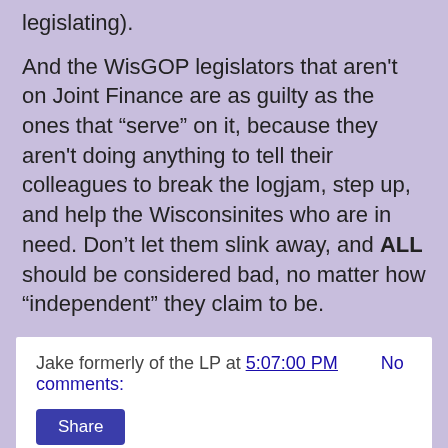legislating).
And the WisGOP legislators that aren't on Joint Finance are as guilty as the ones that “serve” on it, because they aren't doing anything to tell their colleagues to break the logjam, step up, and help the Wisconsinites who are in need. Don’t let them slink away, and ALL should be considered bad, no matter how “independent” they claim to be.
Jake formerly of the LP at 5:07:00 PM   No comments:
Share
Wednesday, August 17, 2022
Good MU Poll results for Dems...and better when you dig into it
To me, the significance of the Marquette Law School polls in this state is because news organizations run with the results and use it to shape their coverage. It’s why I’m often touchy about a lot of it, especially since the press ation but